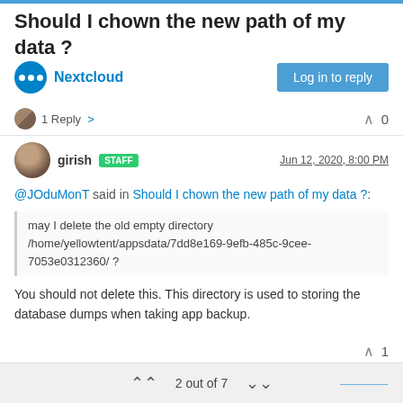Should I chown the new path of my data ?
Nextcloud
Log in to reply
1 Reply >  ∧  0
girish STAFF  Jun 12, 2020, 8:00 PM
@JOduMonT said in Should I chown the new path of my data ?:
may I delete the old empty directory /home/yellowtent/appsdata/7dd8e169-9efb-485c-9cee-7053e0312360/ ?
You should not delete this. This directory is used to storing the database dumps when taking app backup.
2 out of 7